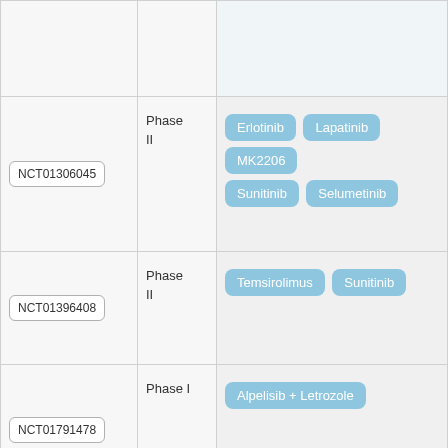| Trial ID | Phase | Drugs |
| --- | --- | --- |
|  |  |  |
| NCT01306045 | Phase II | Erlotinib | Lapatinib | MK2206 | Sunitinib | Selumetinib |
| NCT01396408 | Phase II | Temsirolimus | Sunitinib |
| NCT01791478 | Phase I | Alpelisib + Letrozole |
| NCT02576444 | Phase II | Adavosertib + Olaparib | Olaparib |